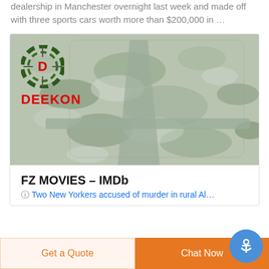dealership in Manchester overnight last week and made off with three sports cars worth more than $200,000 in …
[Figure (photo): Deekon brand advertisement showing a camouflage military-style bag/backpack with DEEKON logo overlay]
FZ MOVIES – IMDb
Two New Yorkers accused of murder in rural Al…
Get a Quote
Chat Now